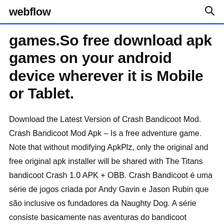webflow
games.So free download apk games on your android device wherever it is Mobile or Tablet.
Download the Latest Version of Crash Bandicoot Mod. Crash Bandicoot Mod Apk – Is a free adventure game. Note that without modifying ApkPlz, only the original and free original apk installer will be shared with The Titans bandicoot Crash 1.0 APK + OBB. Crash Bandicoot é uma série de jogos criada por Andy Gavin e Jason Rubin que são inclusive os fundadores da Naughty Dog. A série consiste basicamente nas aventuras do bandicoot geneticamente alterado Crash, que luta para